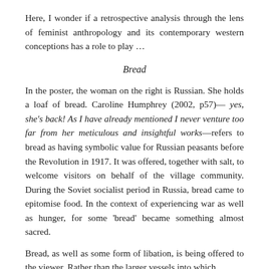Here, I wonder if a retrospective analysis through the lens of feminist anthropology and its contemporary western conceptions has a role to play ...
Bread
In the poster, the woman on the right is Russian. She holds a loaf of bread. Caroline Humphrey (2002, p57)— yes, she's back! As I have already mentioned I never venture too far from her meticulous and insightful works—refers to bread as having symbolic value for Russian peasants before the Revolution in 1917. It was offered, together with salt, to welcome visitors on behalf of the village community. During the Soviet socialist period in Russia, bread came to epitomise food. In the context of experiencing war as well as hunger, for some 'bread' became something almost sacred.
Bread, as well as some form of libation, is being offered to the viewer. Rather than the larger vessels into which